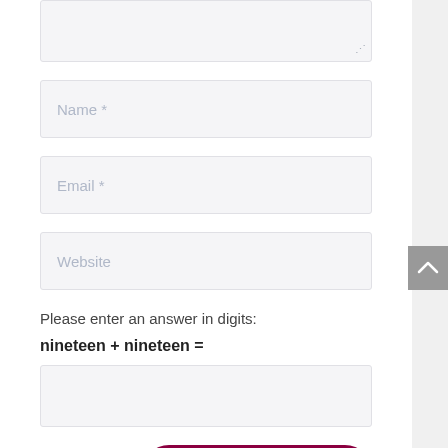[Figure (screenshot): Top portion of a comment form textarea (partially visible, cut off at top), with a resize handle in the bottom-right corner]
Name *
Email *
Website
Please enter an answer in digits:
nineteen + nineteen =
SUBMIT COMMENT